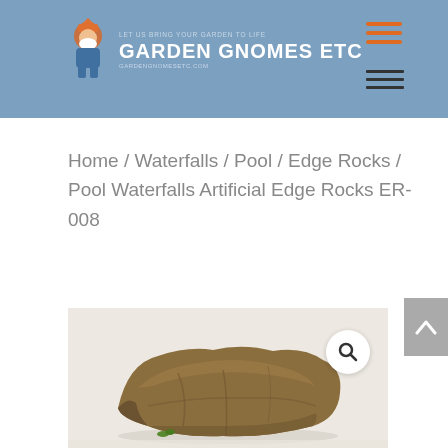[Figure (logo): Garden Gnomes Etc logo with gnome icon and text on blue header background]
[Figure (other): Orange hamburger menu icon (3 horizontal orange lines) in top right of header]
[Figure (other): Dark hamburger menu icon (3 horizontal dark lines) below the orange one in header]
Home / Waterfalls / Pool / Edge Rocks / Pool Waterfalls Artificial Edge Rocks ER-008
[Figure (photo): Photo of a large artificial edge rock (Pool Waterfalls Artificial Edge Rocks ER-008) shown against a white background, brown/tan colored rock with flat top and irregular edges, with a small green plant at the base]